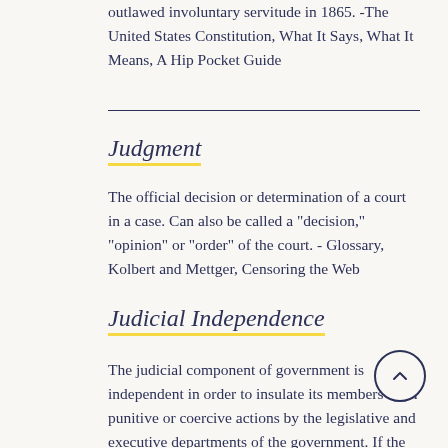outlawed involuntary servitude in 1865. -The United States Constitution, What It Says, What It Means, A Hip Pocket Guide
Judgment
The official decision or determination of a court in a case. Can also be called a "decision," "opinion" or "order" of the court. - Glossary, Kolbert and Mettger, Censoring the Web
Judicial Independence
The judicial component of government is independent in order to insulate its members from punitive or coercive actions by the legislative and executive departments of the government. If the judiciary is independent, they can make fair decisions that uphold the rule of law, an essential element of any genuine constitutional